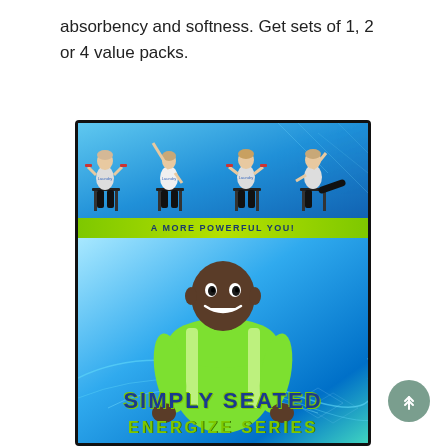absorbency and softness. Get sets of 1, 2 or 4 value packs.
[Figure (photo): DVD case for 'Simply Seated Energize Series' workout video. Top portion shows four older women doing chair exercises with light weights against a blue tech-themed background. A green banner reads 'A MORE POWERFUL YOU!' A Black male fitness trainer in a bright green shirt smiles in the lower portion. The title 'SIMPLY SEATED' appears in large blue letters with 'ENERGIZE SERIES' in green below.]